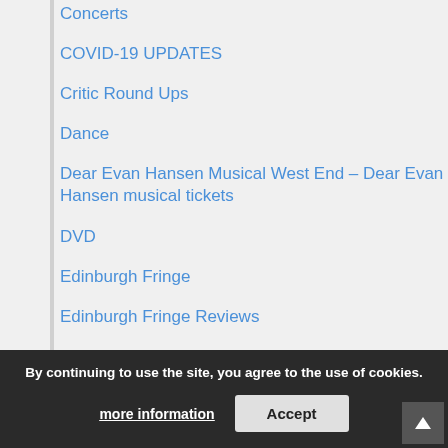Concerts
COVID-19 UPDATES
Critic Round Ups
Dance
Dear Evan Hansen Musical West End – Dear Evan Hansen musical tickets
DVD
Edinburgh Fringe
Edinburgh Fringe Reviews
Events
Exclusive
Features
Fourthwall
Frozen the musical tickets
By continuing to use the site, you agree to the use of cookies.
more information
Accept